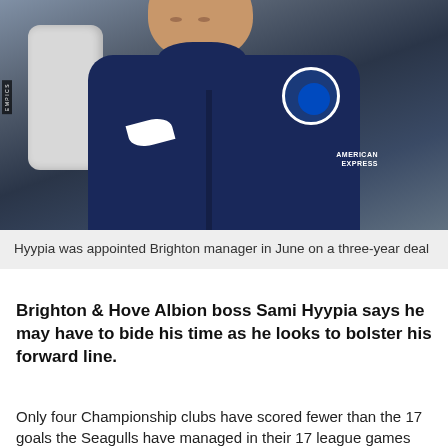[Figure (photo): Man wearing Brighton & Hove Albion navy blue jacket with American Express sponsor logo and Nike badge, seated in a white chair, looking to the side. EMPICS watermark on left edge.]
Hyypia was appointed Brighton manager in June on a three-year deal
Brighton & Hove Albion boss Sami Hyypia says he may have to bide his time as he looks to bolster his forward line.
Only four Championship clubs have scored fewer than the 17 goals the Seagulls have managed in their 17 league games this season.